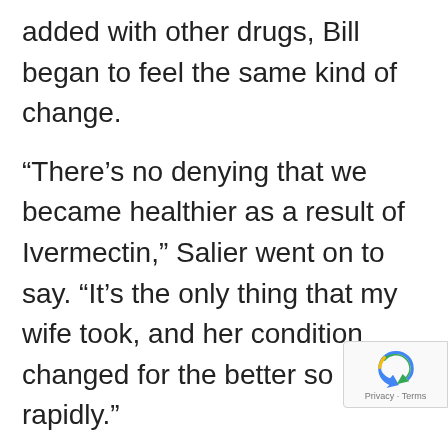added with other drugs, Bill began to feel the same kind of change.
“There’s no denying that we became healthier as a result of Ivermectin,” Salier went on to say. “It’s the only thing that my wife took, and her condition changed for the better so rapidly.”
“Ivermectin saved my life,” he added.
“The politicization of medicine, what these people are doing, is killing people. If this is being denied and it could have helped, sure these policies are killing people. What other